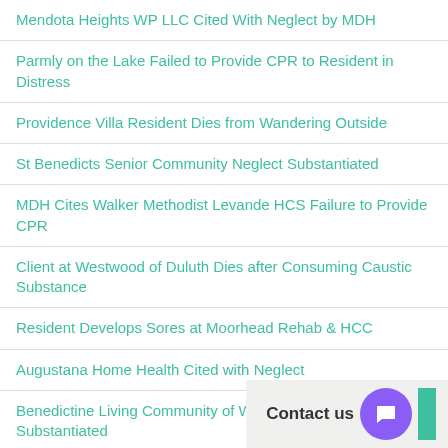Mendota Heights WP LLC Cited With Neglect by MDH
Parmly on the Lake Failed to Provide CPR to Resident in Distress
Providence Villa Resident Dies from Wandering Outside
St Benedicts Senior Community Neglect Substantiated
MDH Cites Walker Methodist Levande HCS Failure to Provide CPR
Client at Westwood of Duluth Dies after Consuming Caustic Substance
Resident Develops Sores at Moorhead Rehab & HCC
Augustana Home Health Cited with Neglect
Benedictine Living Community of Winstead Abuse Substantiated
Anoka Rehab & Living Center Neglect – Injury Due to Bed Rail